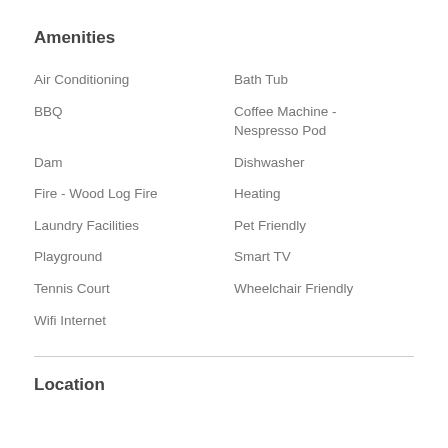Amenities
Air Conditioning
Bath Tub
BBQ
Coffee Machine - Nespresso Pod
Dam
Dishwasher
Fire - Wood Log Fire
Heating
Laundry Facilities
Pet Friendly
Playground
Smart TV
Tennis Court
Wheelchair Friendly
Wifi Internet
Location